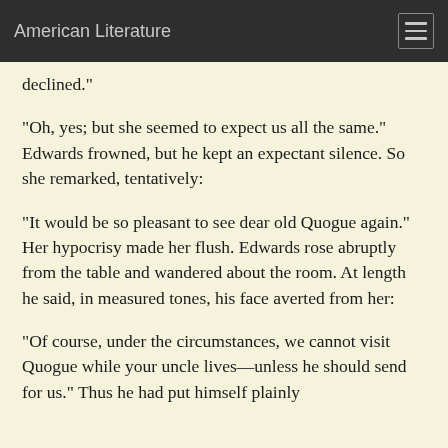American Literature
declined."
"Oh, yes; but she seemed to expect us all the same." Edwards frowned, but he kept an expectant silence. So she remarked, tentatively:
"It would be so pleasant to see dear old Quogue again." Her hypocrisy made her flush. Edwards rose abruptly from the table and wandered about the room. At length he said, in measured tones, his face averted from her:
"Of course, under the circumstances, we cannot visit Quogue while your uncle lives—unless he should send for us." Thus he had put himself plainly